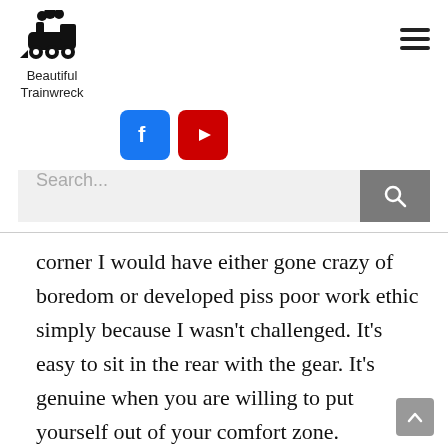[Figure (logo): Train locomotive icon with steam above it]
Beautiful Trainwreck
[Figure (logo): Hamburger menu icon (three horizontal lines)]
[Figure (logo): Facebook and YouTube social media buttons]
[Figure (screenshot): Search bar with search button]
corner I would have either gone crazy of boredom or developed piss poor work ethic simply because I wasn't challenged. It's easy to sit in the rear with the gear. It's genuine when you are willing to put yourself out of your comfort zone.
As it were, people who fall into my